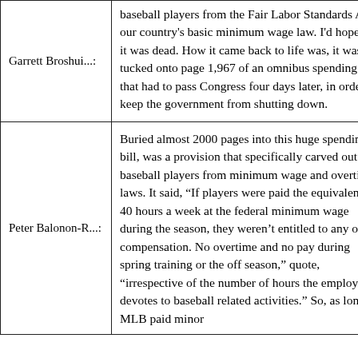| Speaker | Text |
| --- | --- |
| Garrett Broshui...: | baseball players from the Fair Labor Standards Act, our country's basic minimum wage law. I'd hope that it was dead. How it came back to life was, it was tucked onto page 1,967 of an omnibus spending bill that had to pass Congress four days later, in order to keep the government from shutting down. |
| Peter Balonon-R...: | Buried almost 2000 pages into this huge spending bill, was a provision that specifically carved out baseball players from minimum wage and overtime laws. It said, “If players were paid the equivalent of 40 hours a week at the federal minimum wage during the season, they weren’t entitled to any other compensation. No overtime and no pay during spring training or the off season,” quote, “irrespective of the number of hours the employee devotes to baseball related activities.” So, as long as MLB paid minor |